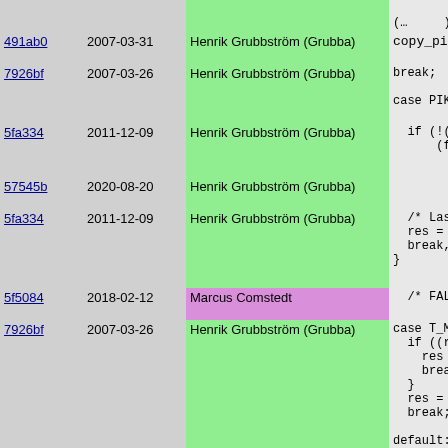| hash | date | author | code |
| --- | --- | --- | --- |
| 491ab0 | 2007-03-31 | Henrik Grubbström (Grubba) | copy_pik |
| 7926bf | 2007-03-26 | Henrik Grubbström (Grubba) | break;

case PIKE_ |
| 5fa334 | 2011-12-09 | Henrik Grubbström (Grubba) | if (!(f…
  (fun |
| 57545b | 2020-08-20 | Henrik Grubbström (Grubba) | !mat |
| 5fa334 | 2011-12-09 | Henrik Grubbström (Grubba) | /* Las…
res =
break,
} |
| 5f5084 | 2018-02-12 | Marcus Comstedt | /* FALL |
| 7926bf | 2007-03-26 | Henrik Grubbström (Grubba) | case T_MA…
if ((re…
  res =
  break,
}
res = lo
break;

default:
  /* Not a
  break;
} |